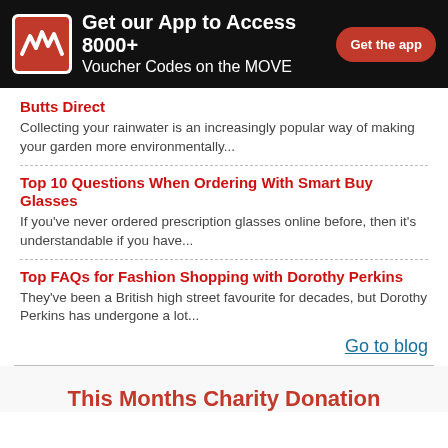Get our App to Access 8000+ Voucher Codes on the MOVE — Get the app
Butts Direct
Collecting your rainwater is an increasingly popular way of making your garden more environmentally...
Top 10 Questions When Ordering With Smart Buy Glasses
If you've never ordered prescription glasses online before, then it's understandable if you have...
Top FAQs for Fashion Shopping with Dorothy Perkins
They've been a British high street favourite for decades, but Dorothy Perkins has undergone a lot...
Go to blog
This Months Charity Donation